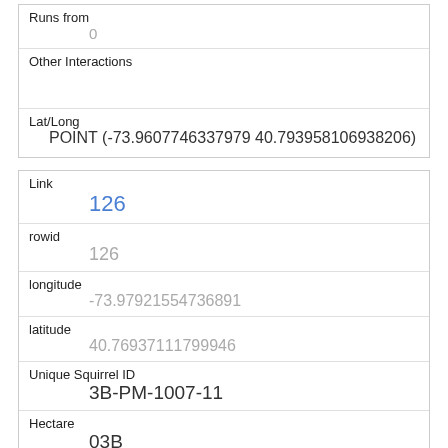| Runs from | 0 |
| Other Interactions |  |
| Lat/Long | POINT (-73.9607746337979 40.793958106938206) |
| Link | 126 |
| rowid | 126 |
| longitude | -73.97921554736891 |
| latitude | 40.76937111799946 |
| Unique Squirrel ID | 3B-PM-1007-11 |
| Hectare | 03B |
| Shift | PM |